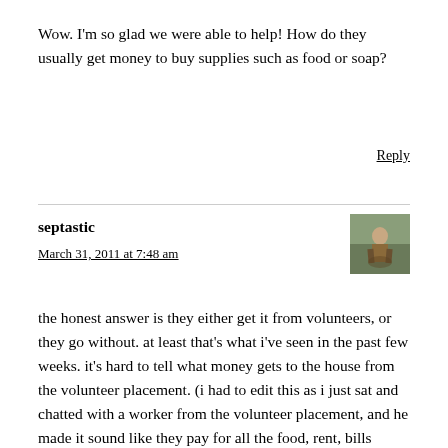Wow. I'm so glad we were able to help! How do they usually get money to buy supplies such as food or soap?
Reply
septastic
March 31, 2011 at 7:48 am
[Figure (photo): Small avatar photo of a person on a path outdoors]
the honest answer is they either get it from volunteers, or they go without. at least that's what i've seen in the past few weeks. it's hard to tell what money gets to the house from the volunteer placement. (i had to edit this as i just sat and chatted with a worker from the volunteer placement, and he made it sound like they pay for all the food, rent, bills